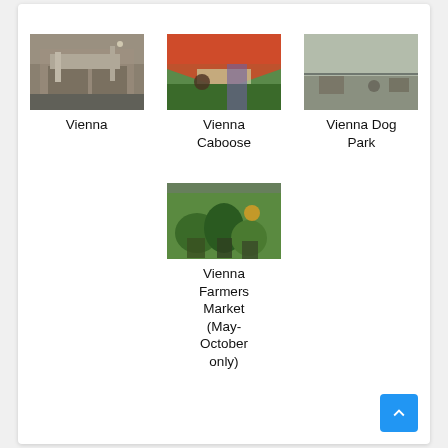[Figure (photo): Photo of Vienna building/street scene]
Vienna
[Figure (photo): Photo of Vienna Caboose with colorful shade canopy]
Vienna Caboose
[Figure (photo): Photo of Vienna Dog Park]
Vienna Dog Park
[Figure (photo): Photo of Vienna Farmers Market produce display]
Vienna Farmers Market (May-October only)